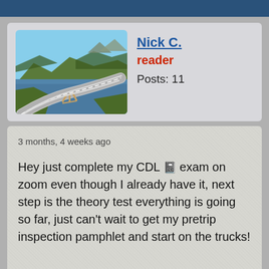[Figure (photo): Profile photo showing a curved bridge over water with green hills and mountains in the background]
Nick C.
reader
Posts: 11
3 months, 4 weeks ago
Hey just complete my CDL 📓 exam on zoom even though I already have it, next step is the theory test everything is going so far, just can't wait to get my pretrip inspection pamphlet and start on the trucks!